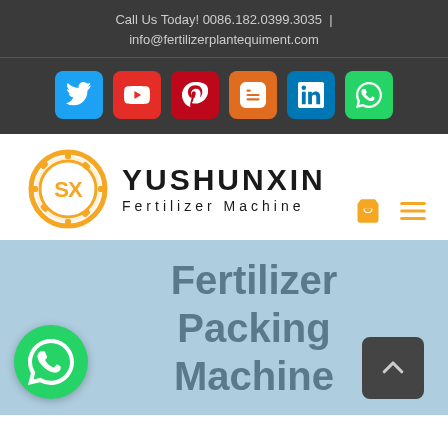Call Us Today! 0086.182.0399.3035 | info@fertilizerplantequiment.com
[Figure (infographic): Social media icon bar with Twitter, YouTube, Pinterest, Blogger, LinkedIn, WhatsApp icons]
[Figure (logo): Yushunxin Fertilizer Machine logo with gear/SX emblem in gold and text YUSHUNXIN Fertilizer Machine]
Fertilizer Packing Machine